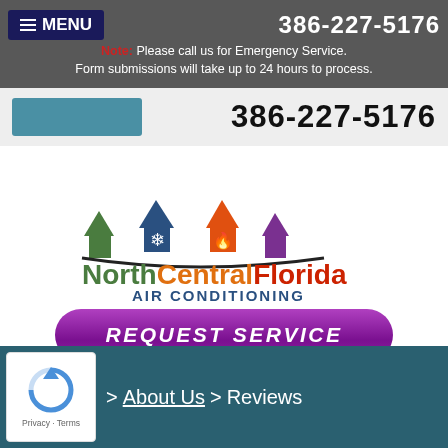MENU  386-227-5176  Note: Please call us for Emergency Service. Form submissions will take up to 24 hours to process.
386-227-5176
[Figure (logo): North Central Florida Air Conditioning logo with four colored house icons (green, blue with snowflake, orange with flame, purple) above the company name in multicolor text and AIR CONDITIONING in blue below]
[Figure (other): REQUEST SERVICE button - purple pill-shaped button with bold italic white text]
> About Us > Reviews